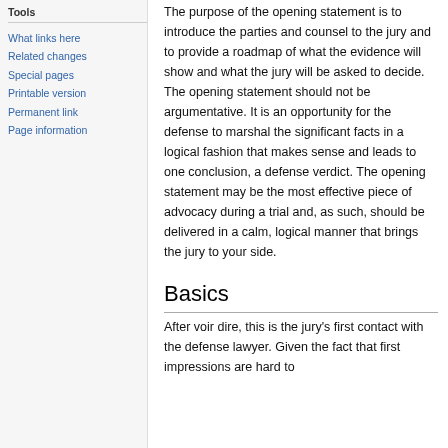Tools
What links here
Related changes
Special pages
Printable version
Permanent link
Page information
The purpose of the opening statement is to introduce the parties and counsel to the jury and to provide a roadmap of what the evidence will show and what the jury will be asked to decide. The opening statement should not be argumentative. It is an opportunity for the defense to marshal the significant facts in a logical fashion that makes sense and leads to one conclusion, a defense verdict. The opening statement may be the most effective piece of advocacy during a trial and, as such, should be delivered in a calm, logical manner that brings the jury to your side.
Basics
After voir dire, this is the jury's first contact with the defense lawyer. Given the fact that first impressions are hard to